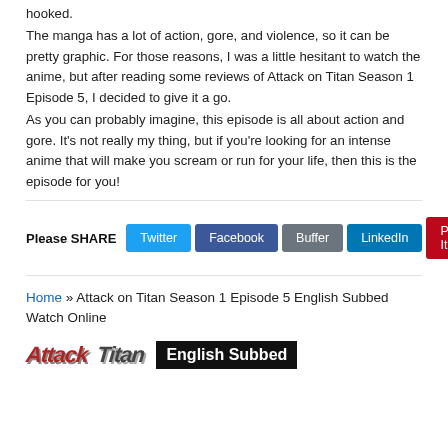hooked.
The manga has a lot of action, gore, and violence, so it can be pretty graphic. For those reasons, I was a little hesitant to watch the anime, but after reading some reviews of Attack on Titan Season 1 Episode 5, I decided to give it a go.
As you can probably imagine, this episode is all about action and gore. It's not really my thing, but if you're looking for an intense anime that will make you scream or run for your life, then this is the episode for you!
Please SHARE  Twitter  Facebook  Buffer  LinkedIn  Pin It
Home » Attack on Titan Season 1 Episode 5 English Subbed Watch Online
[Figure (logo): Attack on Titan logo with 'English Subbed' banner]